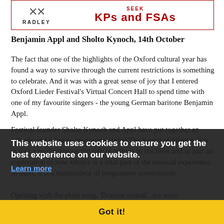[Figure (logo): Radley college advertisement banner with crossed keys logo and text SEEK KPs AND FSAs in dark red]
Benjamin Appl and Sholto Kynoch, 14th October
The fact that one of the highlights of the Oxford cultural year has found a way to survive through the current restrictions is something to celebrate. And it was with a great sense of joy that I entered Oxford Lieder Festival's Virtual Concert Hall to spend time with one of my favourite singers - the young German baritone Benjamin Appl.
Festival founder Sholto Kynoch and Appl have put together an eclectic and intimate programme titled The Sound of Silence. It is in part a meditation on the role of silence in our lives and in part an exploration of how silence is a vital part of the musical experience. In short, it is a masterpiece of programme construction.
This website uses cookies to ensure you get the best experience on our website.
Learn more
Got it!
Opening with the plain song, 'Domine exaudi', we were immediately transported into that contemplative space where